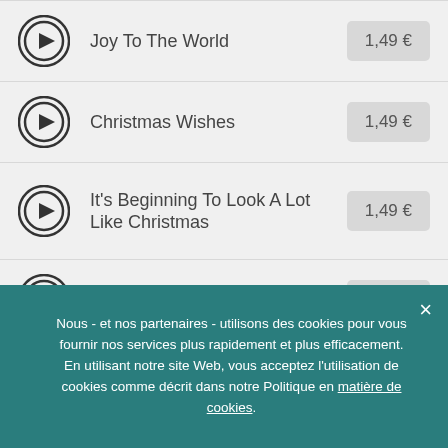Joy To The World — 1,49 €
Christmas Wishes — 1,49 €
It's Beginning To Look A Lot Like Christmas — 1,49 €
Blue Christmas — 1,49 €
We Three Kings — 1,49 €
Nous - et nos partenaires - utilisons des cookies pour vous fournir nos services plus rapidement et plus efficacement. En utilisant notre site Web, vous acceptez l'utilisation de cookies comme décrit dans notre Politique en matière de cookies.